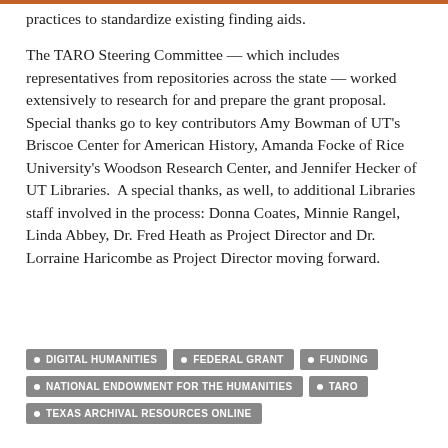practices to standardize existing finding aids.
The TARO Steering Committee — which includes representatives from repositories across the state — worked extensively to research for and prepare the grant proposal. Special thanks go to key contributors Amy Bowman of UT's Briscoe Center for American History, Amanda Focke of Rice University's Woodson Research Center, and Jennifer Hecker of UT Libraries.  A special thanks, as well, to additional Libraries staff involved in the process: Donna Coates, Minnie Rangel, Linda Abbey, Dr. Fred Heath as Project Director and Dr. Lorraine Haricombe as Project Director moving forward.
DIGITAL HUMANITIES
FEDERAL GRANT
FUNDING
NATIONAL ENDOWMENT FOR THE HUMANITIES
TARO
TEXAS ARCHIVAL RESOURCES ONLINE